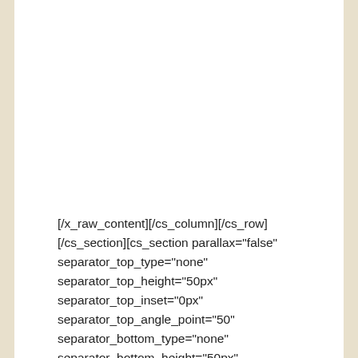[/x_raw_content][/cs_column][/cs_row][/cs_section][cs_section parallax="false" separator_top_type="none" separator_top_height="50px" separator_top_inset="0px" separator_top_angle_point="50" separator_bottom_type="none" separator_bottom_height="50px" separator_bottom_inset="0px" separator_bottom_angle_point="50" _label="Welcome" style="margin: 0px;padding: 45px 0px;"][cs_row